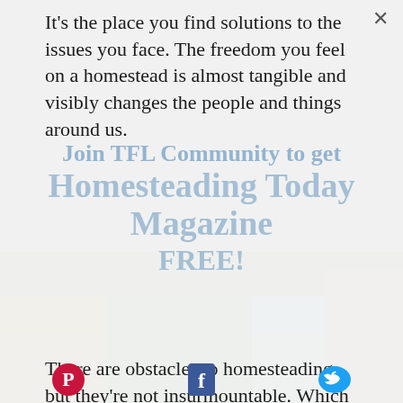It's the place you find solutions to the issues you face. The freedom you feel on a homestead is almost tangible and visibly changes the people and things around us.
Join TFL Community to get Homesteading Today Magazine FREE!
There are obstacles to homesteading but they're not insurmountable. Which of these do you face? Do you face obstacles we haven't mentioned? Share your experience with us in the comments below.
[Figure (infographic): Background magazine collage with social media icons (Pinterest, Facebook, Twitter) at the bottom]